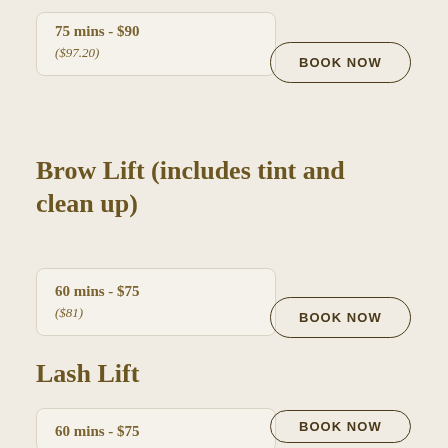75 mins - $90
($97.20)
BOOK NOW
Brow Lift (includes tint and clean up)
60 mins - $75
($81)
BOOK NOW
Lash Lift
60 mins - $75
BOOK NOW